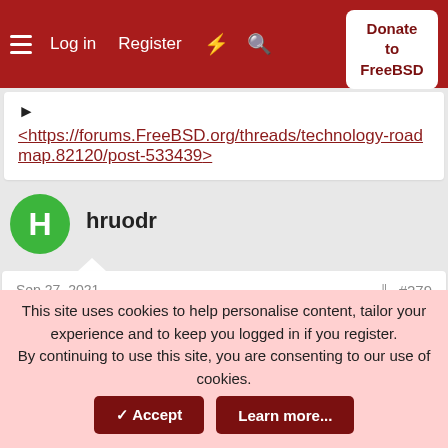Log in  Register  Donate to FreeBSD
<https://forums.FreeBSD.org/threads/technology-roadmap.82120/post-533439>
hruodr
Sep 27, 2021  #279
kpedersen said:
reduced accessibility
A blind person would perhaps prefer ed to ee, he
This site uses cookies to help personalise content, tailor your experience and to keep you logged in if you register.
By continuing to use this site, you are consenting to our use of cookies.
✓ Accept   Learn more...